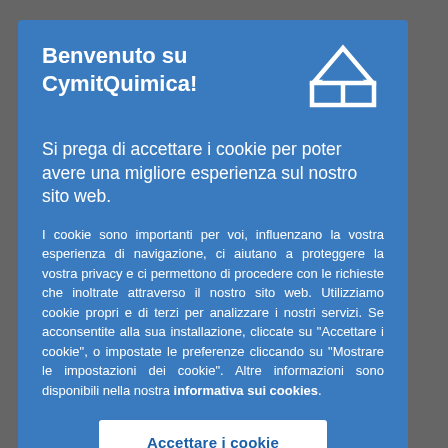Benvenuto su CymitQuimica!
Si prega di accettare i cookie per poter avere una migliore esperienza sul nostro sito web.
I cookie sono importanti per voi, influenzano la vostra esperienza di navigazione, ci aiutano a proteggere la vostra privacy e ci permettono di procedere con le richieste che inoltrate attraverso il nostro sito web. Utilizziamo cookie propri e di terzi per analizzare i nostri servizi. Se acconsentite alla sua installazione, cliccate su "Accettare i cookie", o impostate le preferenze cliccando su "Mostrare le impostazioni dei cookie". Altre informazioni sono disponibili nella nostra informativa sui cookies.
Accettare i cookie